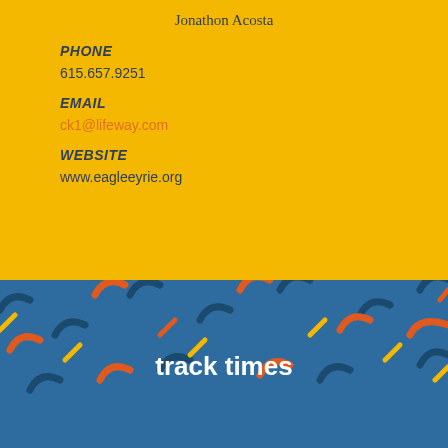Jonathon Acosta
PHONE
615.657.9251
EMAIL
ck1@lifeway.com
WEBSITE
www.eagleeyrie.org
[Figure (illustration): Blue patterned banner with orange and dark blue decorative shapes (arcs, line marks) and 'track times' text label, with an orange card below showing a play button icon.]